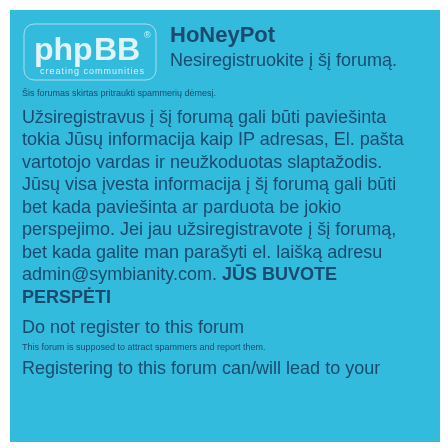[Figure (logo): phpBB logo with 'creating communities' tagline, white text on blue background]
HoNeyPot
Nesiregistruokite į šį forumą.
Šis forumas skirtas pritraukti spammerių dėmesį.
Užsiregistravus į šį forumą gali būti paviešinta tokia Jūsų informacija kaip IP adresas, El. pašta vartotojo vardas ir neužkoduotas slaptažodis. Jūsų visa įvesta informacija į šį forumą gali būti bet kada paviešinta ar parduota be jokio perspejimo. Jei jau užsiregistravote į šį forumą, bet kada galite man parašyti el. laišką adresu admin@symbianity.com. JŪS BUVOTE PERSPĖTI
Do not register to this forum
This forum is supposed to attract spammers and report them.
Registering to this forum can/will lead to your